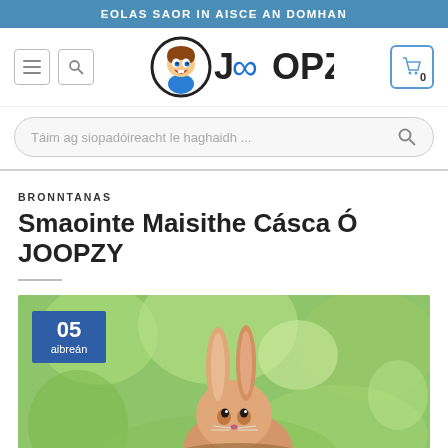EOLAS SAOR IN AISCE AN DOMHAN
[Figure (logo): Joopzy website header with hamburger menu icon, search icon, Joopzy logo (cartoon character with infinity symbol), and cart icon showing 0 items]
Táim ag siopadóireacht le haghaidh ...
BRONNTANAS
Smaointe Maisithe Cásca Ó JOOPZY
[Figure (photo): A cute baby rabbit/bunny in a blurred green garden background, with a date badge overlay showing '05 aibreán']